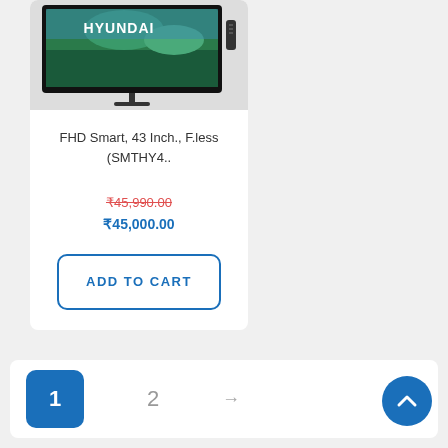[Figure (photo): Hyundai FHD Smart TV product image showing a TV with HYUNDAI branding on screen displaying a landscape scene]
FHD Smart, 43 Inch., F.less (SMTHY4..
₹45,990.00
₹45,000.00
ADD TO CART
1
2
→